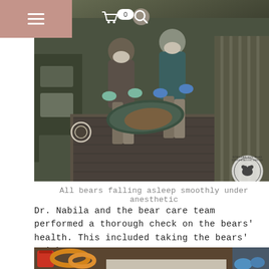Navigation bar with hamburger menu, search icon, and cart icon
[Figure (photo): Team members in masks carrying an anesthetized bear on a tarp inside a bear care facility. Workers wear gloves and masks. A watermark for Bornean Sun Bear Conservation Centre (BSBCC) is visible in the bottom right corner.]
All bears falling asleep smoothly under anesthetic
Dr. Nabila and the bear care team performed a thorough check on the bears' health. This included taking the bears' weight,
[Figure (photo): Partial view of bottom photo showing colorful buckets (red, orange) and hoses on the left, and a person in blue gloves on the right, inside the bear care facility.]